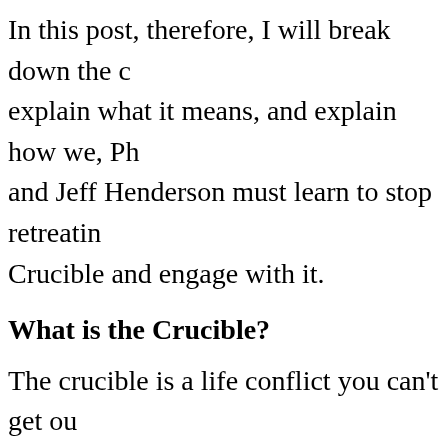In this post, therefore, I will break down the c explain what it means, and explain how we, Ph and Jeff Henderson must learn to stop retreatin Crucible and engage with it.
What is the Crucible?
The crucible is a life conflict you can't get ou your place on life's chessboard, so to speak. Yo with the various conflicts contained within you crucible and develop adaptation skills, wisdom strength, or you retreat from your personal crue